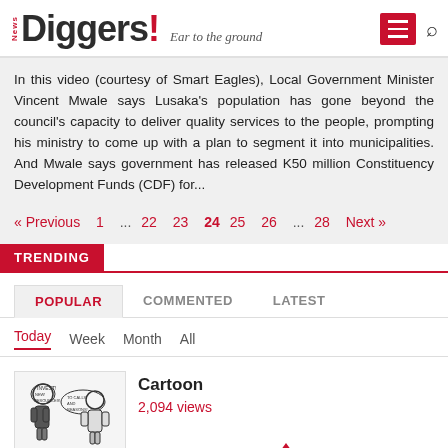News Diggers! Ear to the ground
In this video (courtesy of Smart Eagles), Local Government Minister Vincent Mwale says Lusaka's population has gone beyond the council's capacity to deliver quality services to the people, prompting his ministry to come up with a plan to segment it into municipalities. And Mwale says government has released K50 million Constituency Development Funds (CDF) for...
« Previous  1  ...  22  23  24  25  26  ...  28  Next »
TRENDING
POPULAR   COMMENTED   LATEST
Today   Week   Month   All
Cartoon
2,094 views